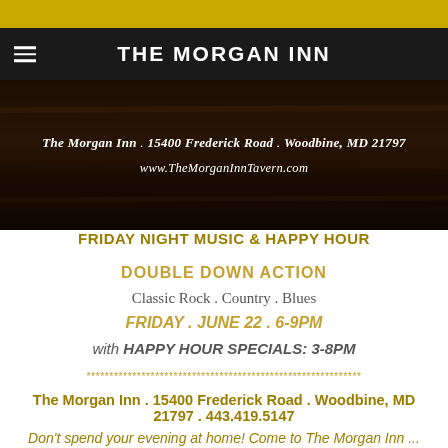THE MORGAN INN
[Figure (photo): Dark wood background banner with The Morgan Inn address and website]
FRIDAY NIGHT MUSIC & HAPPY HOUR
DOUBLE DOWN ACTION
Classic Rock . Country . Blues
FRIDAY . JUNE 22 . 6-9PM
with HAPPY HOUR SPECIALS: 3-8PM
************************************************************
The Morgan Inn . 15400 Frederick Road . Woodbine, MD 21797 . 443.419.5147
Don't spend your evening at home! Come to The Morgan Inn ...